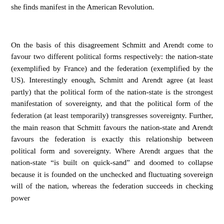she finds manifest in the American Revolution.
On the basis of this disagreement Schmitt and Arendt come to favour two different political forms respectively: the nation-state (exemplified by France) and the federation (exemplified by the US). Interestingly enough, Schmitt and Arendt agree (at least partly) that the political form of the nation-state is the strongest manifestation of sovereignty, and that the political form of the federation (at least temporarily) transgresses sovereignty. Further, the main reason that Schmitt favours the nation-state and Arendt favours the federation is exactly this relationship between political form and sovereignty. Where Arendt argues that the nation-state “is built on quick-sand” and doomed to collapse because it is founded on the unchecked and fluctuating sovereign will of the nation, whereas the federation succeeds in checking power